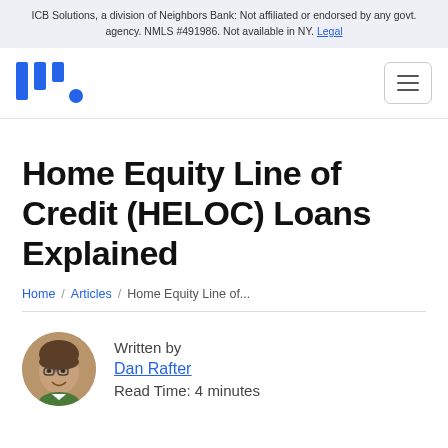ICB Solutions, a division of Neighbors Bank: Not affiliated or endorsed by any govt. agency. NMLS #491986. Not available in NY. Legal
[Figure (logo): Morty logo — three blue vertical bars followed by a blue dot, styled as stylized letter M]
Home Equity Line of Credit (HELOC) Loans Explained
Home / Articles / Home Equity Line of...
Written by Dan Rafter
Read Time: 4 minutes